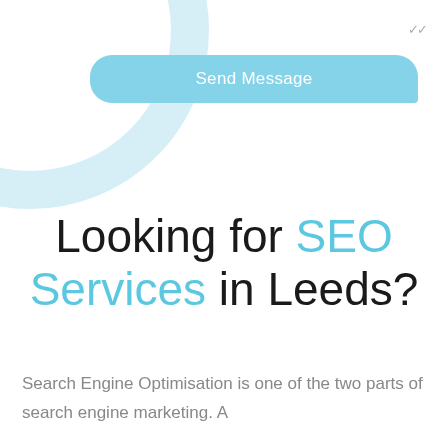[Figure (illustration): Light blue decorative arc/circle shape in the top-left corner of the page, used as a background design element. Also a double-check mark icon in the top-right corner.]
Send Message
Looking for SEO Services in Leeds?
Search Engine Optimisation is one of the two parts of search engine marketing. A